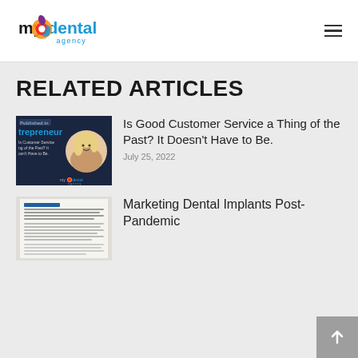[Figure (logo): My Dental Agency logo with colorful circular icon and text]
RELATED ARTICLES
[Figure (photo): Entrepreneur magazine article thumbnail about customer service with woman's photo and My Dental Agency branding]
Is Good Customer Service a Thing of the Past? It Doesn't Have to Be.
July 25, 2022
[Figure (photo): Close-up photo of a magazine or newspaper article about dental implants]
Marketing Dental Implants Post-Pandemic